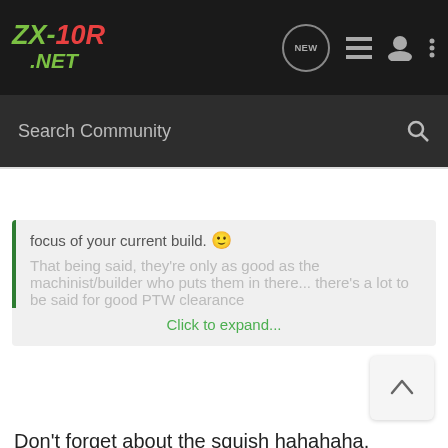ZX-10R.NET - Navigation bar with logo, NEW, list, user, and more icons
Search Community
focus of your current build. 🙂
That being said, they're only as good as the machinist/builder who puts them in there... there's a lot to be said for good PTW clearance
Click to expand...
Don't forget about the squish hahahaha.